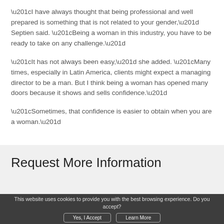“I have always thought that being professional and well prepared is something that is not related to your gender,” Septien said. “Being a woman in this industry, you have to be ready to take on any challenge.”
“It has not always been easy,” she added. “Many times, especially in Latin America, clients might expect a managing director to be a man. But I think being a woman has opened many doors because it shows and sells confidence.”
“Sometimes, that confidence is easier to obtain when you are a woman.”
Request More Information
This website uses cookies to provide you with the best browsing experience. Do you accept?